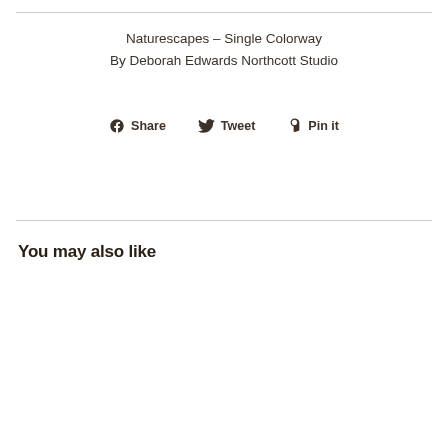Naturescapes – Single Colorway
By Deborah Edwards Northcott Studio
Share  Tweet  Pin it
You may also like